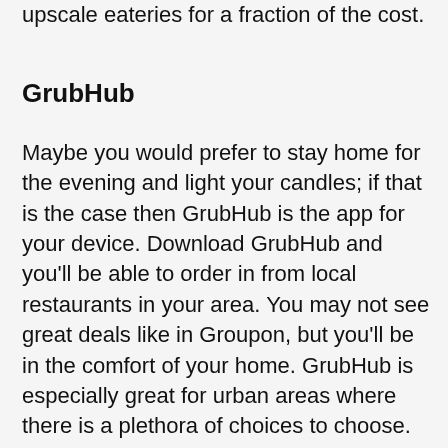being thrifty, and you can take your date to some upscale eateries for a fraction of the cost.
GrubHub
Maybe you would prefer to stay home for the evening and light your candles; if that is the case then GrubHub is the app for your device. Download GrubHub and you'll be able to order in from local restaurants in your area. You may not see great deals like in Groupon, but you'll be in the comfort of your home. GrubHub is especially great for urban areas where there is a plethora of choices to choose.